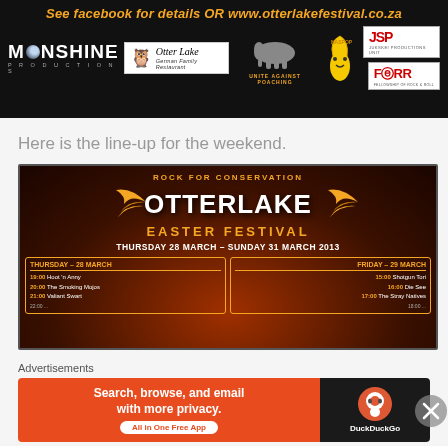[Figure (infographic): Otter Lake Festival banner ad with Moonshine Productions logo, Otter Lake German Family Restaurant logo, rhino silhouette with Unite Against Poaching text, banana character, JSP logo and FORR logo on black background. Text: See facebook for details OR www.otterlakefestival.co.za]
Here is the line-up for the weekend.
[Figure (infographic): Rock for Conservation Otter Lake Easter Festival poster. Thursday 28 March - Sunday 31 March 2013. Schedule columns: Thursday 28 March (19:00 Hoot 'n Anny, 20:00 The Smoking Mojos, 21:00 Valiant Swart) and Friday 29 March (15:00 Shotgun Tori, 16:00 Die See, 17:00 The Stray Natives). Background is dark orange/brown with angel wings flanking the title.]
Advertisements
[Figure (infographic): DuckDuckGo advertisement banner. Text: Search, browse, and email with more privacy. All in One Free App. DuckDuckGo logo on right side with orange background on left and dark background on right.]